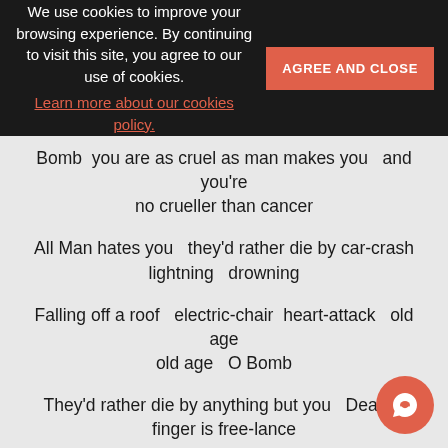We use cookies to improve your browsing experience. By continuing to visit this site, you agree to our use of cookies. Learn more about our cookies policy.
Bomb  you are as cruel as man makes you   and you're no crueller than cancer
All Man hates you   they'd rather die by car-crash lightning   drowning
Falling off a roof   electric-chair  heart-attack   old age old age   O Bomb
They'd rather die by anything but you   Death's finger is free-lance
Not up to man whether you boom or not   Death has long since distributed its
categorical blue   I sing thee Bomb   Death's extravagance   Death's jubilee